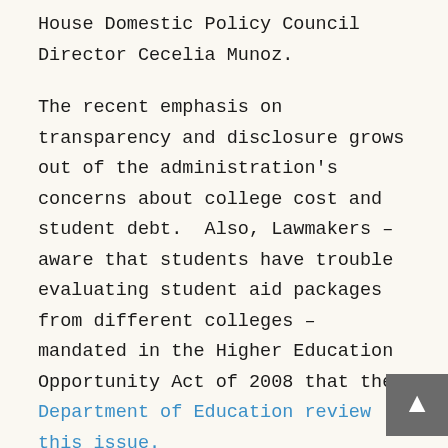House Domestic Policy Council Director Cecelia Munoz.
The recent emphasis on transparency and disclosure grows out of the administration's concerns about college cost and student debt.  Also, Lawmakers – aware that students have trouble evaluating student aid packages from different colleges – mandated in the Higher Education Opportunity Act of 2008 that the Department of Education review this issue.
More recently, the newly-formed CFPB also has joined the administration's college disclosure efforts with a highly-criticized